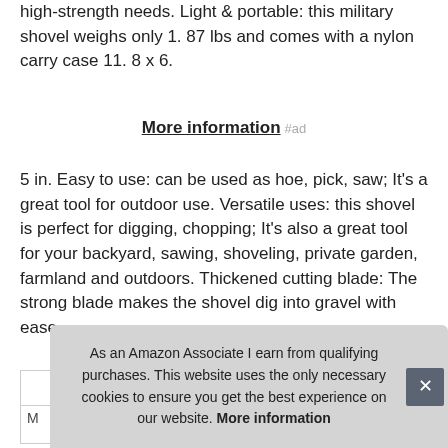high-strength needs. Light & portable: this military shovel weighs only 1. 87 lbs and comes with a nylon carry case 11. 8 x 6.
More information #ad
5 in. Easy to use: can be used as hoe, pick, saw; It's a great tool for outdoor use. Versatile uses: this shovel is perfect for digging, chopping; It's also a great tool for your backyard, sawing, shoveling, private garden, farmland and outdoors. Thickened cutting blade: The strong blade makes the shovel dig into gravel with ease.
As an Amazon Associate I earn from qualifying purchases. This website uses the only necessary cookies to ensure you get the best experience on our website. More information